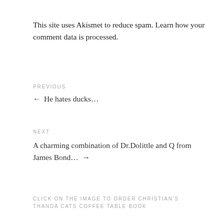This site uses Akismet to reduce spam. Learn how your comment data is processed.
PREVIOUS
← He hates ducks…
NEXT
A charming combination of Dr.Dolittle and Q from James Bond… →
CLICK ON THE IMAGE TO ORDER CHRISTIAN'S THANDA CATS COFFEE TABLE BOOK